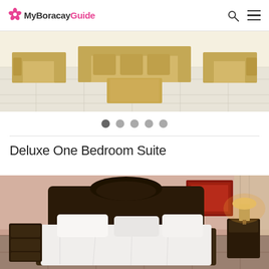MyBoracayGuide
[Figure (photo): Living room with rattan/wicker furniture, sofa set, coffee table on white tiled floor]
[Figure (other): Slideshow pagination dots — 5 dots, first one darker (active)]
Deluxe One Bedroom Suite
[Figure (photo): Hotel bedroom with ornate dark wood headboard, white bedding, bedside lamp, red artwork on wall]